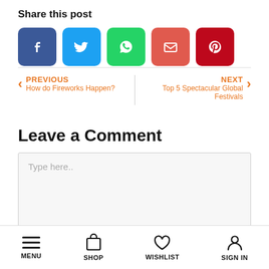Share this post
[Figure (infographic): Row of 5 social share buttons: Facebook (blue), Twitter (light blue), WhatsApp (green), Email (red-orange), Pinterest (dark red)]
PREVIOUS
How do Fireworks Happen?
NEXT
Top 5 Spectacular Global Festivals
Leave a Comment
Type here..
MENU  SHOP  WISHLIST  SIGN IN